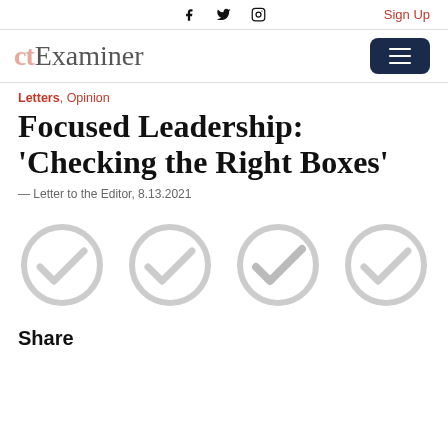f  ✓  ⊙  Sign Up
[Figure (logo): CT Examiner logo with hamburger menu button]
Letters, Opinion
Focused Leadership: 'Checking the Right Boxes'
— Letter to the Editor, 8.13.2021
[Figure (illustration): Four light gray checkmark-in-circle icons arranged in a row]
Share